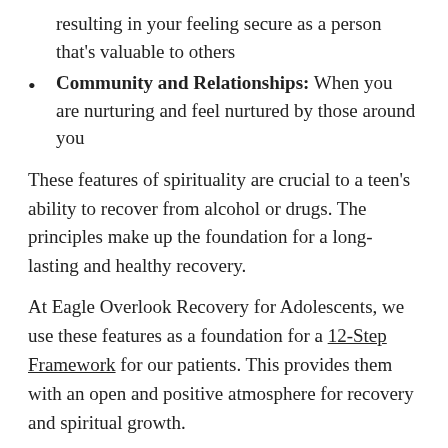resulting in your feeling secure as a person that's valuable to others
Community and Relationships: When you are nurturing and feel nurtured by those around you
These features of spirituality are crucial to a teen's ability to recover from alcohol or drugs. The principles make up the foundation for a long-lasting and healthy recovery.
At Eagle Overlook Recovery for Adolescents, we use these features as a foundation for a 12-Step Framework for our patients. This provides them with an open and positive atmosphere for recovery and spiritual growth.